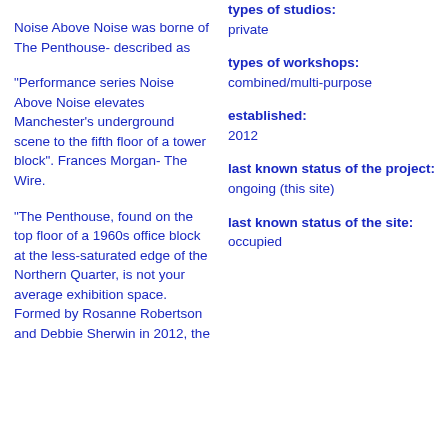types of studios: private
Noise Above Noise was borne of The Penthouse- described as
types of workshops: combined/multi-purpose
"Performance series Noise Above Noise elevates Manchester’s underground scene to the fifth floor of a tower block". Frances Morgan- The Wire.
established: 2012
last known status of the project: ongoing (this site)
"The Penthouse, found on the top floor of a 1960s office block at the less-saturated edge of the Northern Quarter, is not your average exhibition space. Formed by Rosanne Robertson and Debbie Sherwin in 2012, the
last known status of the site: occupied